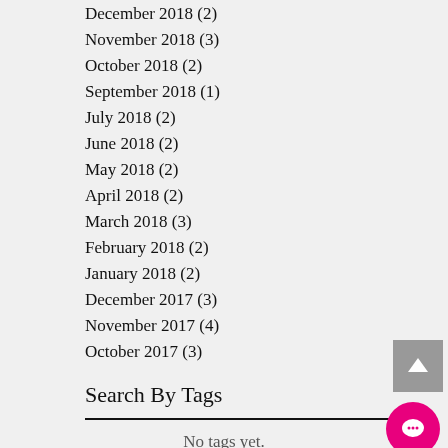December 2018 (2)
November 2018 (3)
October 2018 (2)
September 2018 (1)
July 2018 (2)
June 2018 (2)
May 2018 (2)
April 2018 (2)
March 2018 (3)
February 2018 (2)
January 2018 (2)
December 2017 (3)
November 2017 (4)
October 2017 (3)
Search By Tags
No tags yet.